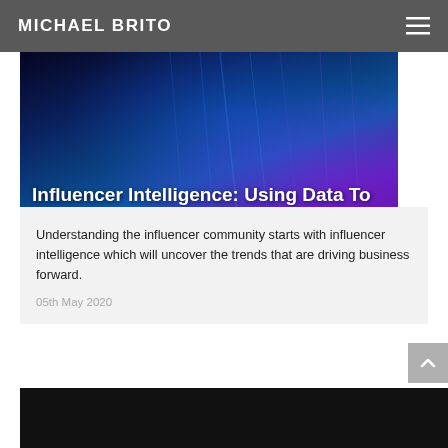MICHAEL BRITO
[Figure (photo): Hero image with blue and purple light streaks on dark background, with bold white title text overlay reading: Influencer Intelligence: Using Data To Understand The Influencer Community]
Influencer Intelligence: Using Data To Understand The Influencer Community
Video
Understanding the influencer community starts with influencer intelligence which will uncover the trends that are driving business forward.
05th May 2020
[Figure (photo): Dark bottom section, partially visible, appears to be another article or content area with dark background]